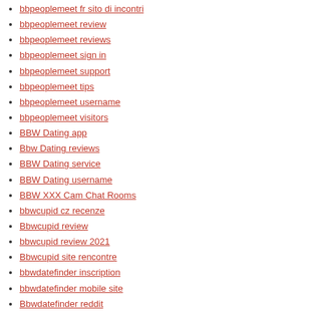bbpeoplemeet fr sito di incontri
bbpeoplemeet review
bbpeoplemeet reviews
bbpeoplemeet sign in
bbpeoplemeet support
bbpeoplemeet tips
bbpeoplemeet username
bbpeoplemeet visitors
BBW Dating app
Bbw Dating reviews
BBW Dating service
BBW Dating username
BBW XXX Cam Chat Rooms
bbwcupid cz recenze
Bbwcupid review
bbwcupid review 2021
Bbwcupid site rencontre
bbwdatefinder inscription
bbwdatefinder mobile site
Bbwdatefinder reddit
BBWDateFinder username
bbwdesire gratis
Bbwdesire login
BBWDesire review
BBWDesire visitors